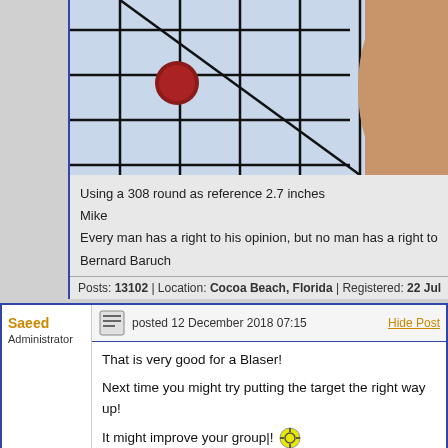[Figure (photo): Shooting target with grid lines and a red bullet hole/dot near the left center, with a hand partially visible on the right side. Blue/light sky background.]
Using a 308 round as reference 2.7 inches
Mike
Every man has a right to his opinion, but no man has a right to
Bernard Baruch
Posts: 13102 | Location: Cocoa Beach, Florida | Registered: 22 Jul
Saeed
Administrator
posted 12 December 2018 07:15
Hide Post
That is very good for a Blaser!
Next time you might try putting the target the right way up!
It might improve your group|!
www.accuratereloading.com